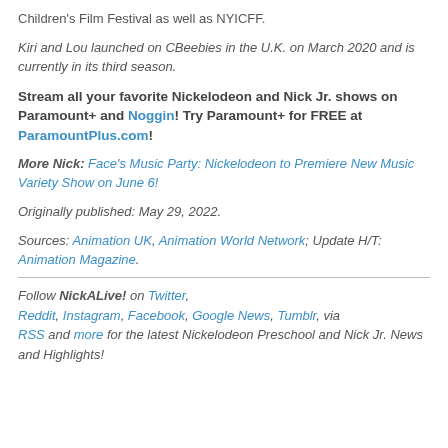Children's Film Festival as well as NYICFF.
Kiri and Lou launched on CBeebies in the U.K. on March 2020 and is currently in its third season.
Stream all your favorite Nickelodeon and Nick Jr. shows on Paramount+ and Noggin! Try Paramount+ for FREE at ParamountPlus.com!
More Nick: Face's Music Party: Nickelodeon to Premiere New Music Variety Show on June 6!
Originally published: May 29, 2022.
Sources: Animation UK, Animation World Network; Update H/T: Animation Magazine.
Follow NickALive! on Twitter, Reddit, Instagram, Facebook, Google News, Tumblr, via RSS and more for the latest Nickelodeon Preschool and Nick Jr. News and Highlights!